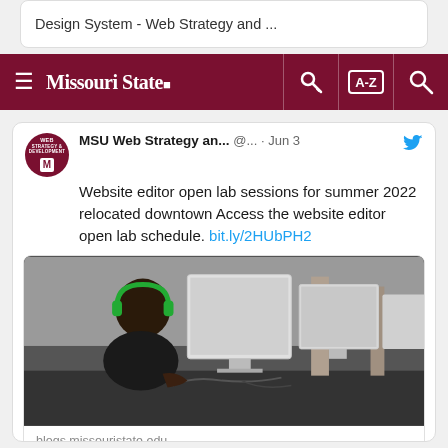Design System - Web Strategy and ...
Missouri State — Navigation bar with hamburger menu, key icon, A-Z index, and search icon
MSU Web Strategy an... @... · Jun 3
Website editor open lab sessions for summer 2022 relocated downtown Access the website editor open lab schedule. bit.ly/2HUbPH2
[Figure (photo): Person wearing green headphones sitting at a desktop computer workstation in a computer lab, with multiple monitors visible in the background]
blogs.missouristate.edu
Web Press open lab relocated for summer 2018 - Web Strategy and Development ...